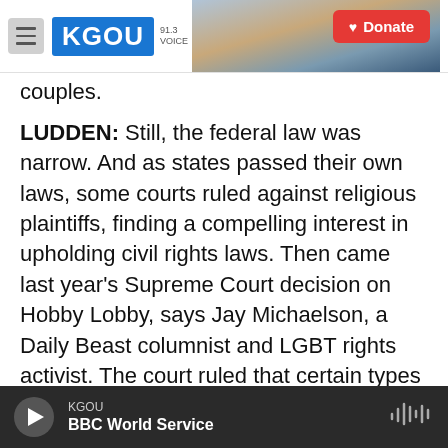KGOU | Donate
couples.
LUDDEN: Still, the federal law was narrow. And as states passed their own laws, some courts ruled against religious plaintiffs, finding a compelling interest in upholding civil rights laws. Then came last year's Supreme Court decision on Hobby Lobby, says Jay Michaelson, a Daily Beast columnist and LGBT rights activist. The court ruled that certain types of corporations could cite religious freedom to deny contraceptive coverage to their employees.
JAY MICHAELSON: This turns RFRA's logic on its
KGOU | BBC World Service